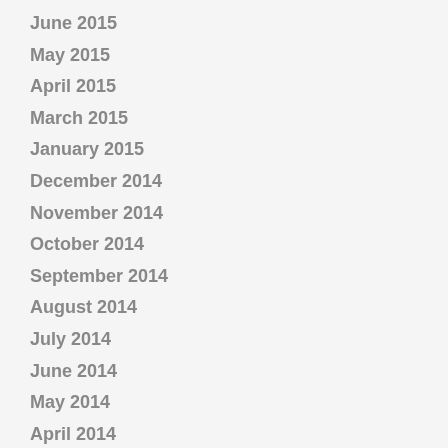June 2015
May 2015
April 2015
March 2015
January 2015
December 2014
November 2014
October 2014
September 2014
August 2014
July 2014
June 2014
May 2014
April 2014
March 2014
February 2014
January 2014
December 2013